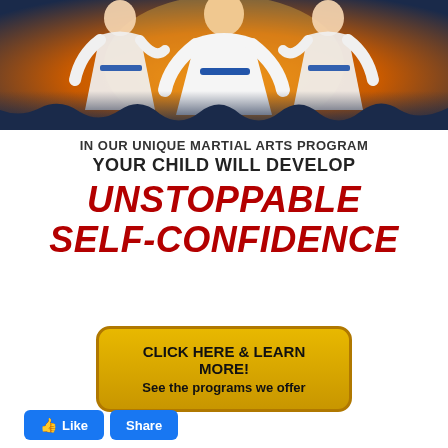[Figure (photo): Three children in white martial arts uniforms (gi) with blue belts posing against an orange and dark blue gradient background. The center child faces forward while two flank either side.]
IN OUR UNIQUE MARTIAL ARTS PROGRAM
YOUR CHILD WILL DEVELOP
UNSTOPPABLE SELF-CONFIDENCE
CLICK HERE & LEARN MORE!
See the programs we offer
Like  Share